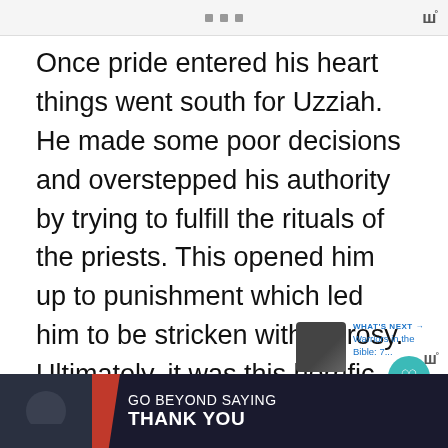Once pride entered his heart things went south for Uzziah. He made some poor decisions and overstepped his authority by trying to fulfill the rituals of the priests. This opened him up to punishment which led him to be stricken with leprosy. Ultimately, it was this horrific skin disease that took his life.
[Figure (photo): Thumbnail image of warriors/temple scene for 'What's Next' widget]
WHAT'S NEXT → Warriors in the Bible: 7...
[Figure (photo): Temple or ancient building image with golden columns]
[Figure (infographic): Advertisement banner: GO BEYOND SAYING THANK YOU - OPERATION GRATITUDE - JOIN US]